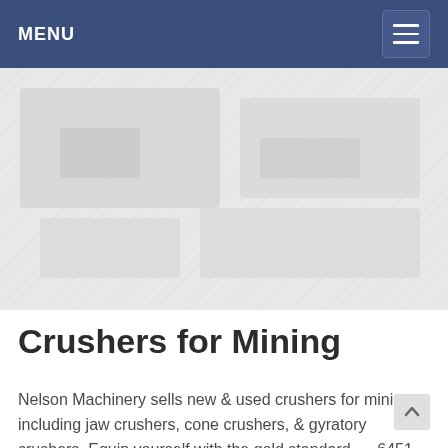MENU
[Figure (photo): Faded/ghosted background image of mining crushers or related machinery, shown as a light gray placeholder area.]
Crushers for Mining
Nelson Machinery sells new & used crushers for mining including jaw crushers, cone crushers, & gyratory crushers. Equip yourself with the gold standard. ... 6451 Trans-Canada Hwy Savona, BC V0K 2J0. Subscribe to